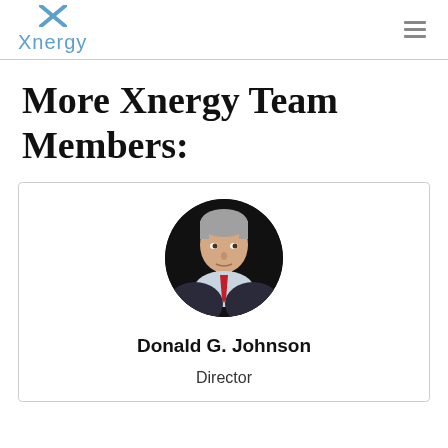Xnergy
More Xnergy Team Members:
[Figure (photo): Circular profile photo of Donald G. Johnson, a man with grey hair wearing a suit and red tie, against a dark background]
Donald G. Johnson
Director